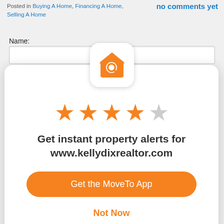Posted in Buying A Home, Financing A Home, Selling A Home
no comments yet
Name:
[Figure (logo): MoveTo app icon: orange house with magnifying glass on white rounded square background]
[Figure (other): 4 out of 5 orange stars rating]
Get instant property alerts for www.kellydixrealtor.com
Get the MoveTo App
Not Now